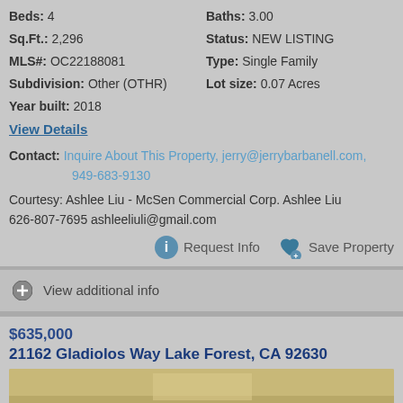Beds: 4
Baths: 3.00
Sq.Ft.: 2,296
Status: NEW LISTING
MLS#: OC22188081
Type: Single Family
Subdivision: Other (OTHR)
Lot size: 0.07 Acres
Year built: 2018
View Details
Contact: Inquire About This Property, jerry@jerrybarbanell.com, 949-683-9130
Courtesy: Ashlee Liu - McSen Commercial Corp. Ashlee Liu 626-807-7695 ashleeliuli@gmail.com
Request Info  Save Property
View additional info
$635,000
21162 Gladiolos Way Lake Forest, CA 92630
[Figure (photo): Interior photo of a room, partially visible at bottom of page]